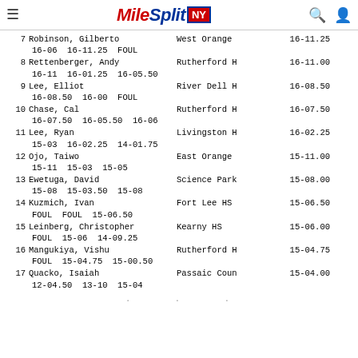MileSplit NY
7 Robinson, Gilberto  West Orange  16-11.25
  16-06  16-11.25  FOUL
8 Rettenberger, Andy  Rutherford H  16-11.00
  16-11  16-01.25  16-05.50
9 Lee, Elliot  River Dell H  16-08.50
  16-08.50  16-00  FOUL
10 Chase, Cal  Rutherford H  16-07.50
  16-07.50  16-05.50  16-06
11 Lee, Ryan  Livingston H  16-02.25
  15-03  16-02.25  14-01.75
12 Ojo, Taiwo  East Orange  15-11.00
  15-11  15-03  15-05
13 Ewetuga, David  Science Park  15-08.00
  15-08  15-03.50  15-08
14 Kuzmich, Ivan  Fort Lee HS  15-06.50
  FOUL  FOUL  15-06.50
15 Leinberg, Christopher  Kearny HS  15-06.00
  FOUL  15-06  14-09.25
16 Mangukiya, Vishu  Rutherford H  15-04.75
  FOUL  15-04.75  15-00.50
17 Quacko, Isaiah  Passaic Coun  15-04.00
  12-04.50  13-10  15-04
...